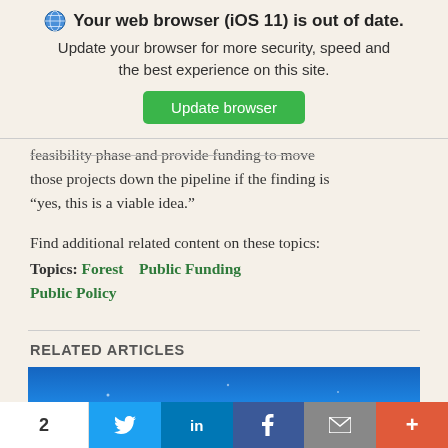[Figure (screenshot): Browser update notification banner with globe icon, bold title 'Your web browser (iOS 11) is out of date.', subtitle 'Update your browser for more security, speed and the best experience on this site.', and a green 'Update browser' button]
feasibility phase and provide funding to move those projects down the pipeline if the finding is “yes, this is a viable idea.”
Find additional related content on these topics:
Topics: Forest   Public Funding   Public Policy
RELATED ARTICLES
[Figure (photo): Blue sky landscape photo used as article thumbnail]